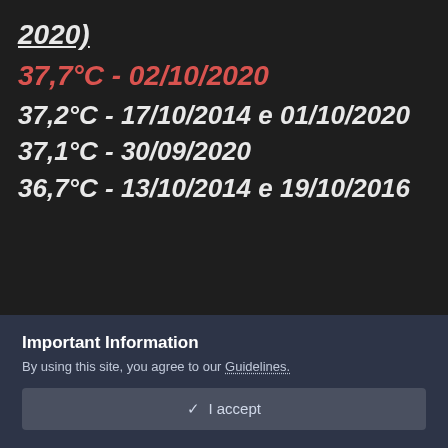2020)
37,7°C - 02/10/2020
37,2°C - 17/10/2014 e 01/10/2020
37,1°C - 30/09/2020
36,7°C - 13/10/2014 e 19/10/2016
=====================================
=====================================
Important Information
By using this site, you agree to our Guidelines.
✓  I accept